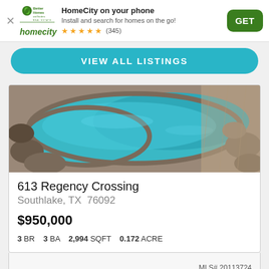HomeCity on your phone — Install and search for homes on the go! ★★★★★ (345)
VIEW ALL LISTINGS
[Figure (photo): Aerial/close-up photo of a kidney-shaped swimming pool with turquoise water surrounded by natural stone pavers and rocks]
613 Regency Crossing
Southlake, TX  76092
$950,000
3 BR   3 BA   2,994 SQFT   0.172 ACRE
MLS# 20113724
Keller Williams Realty